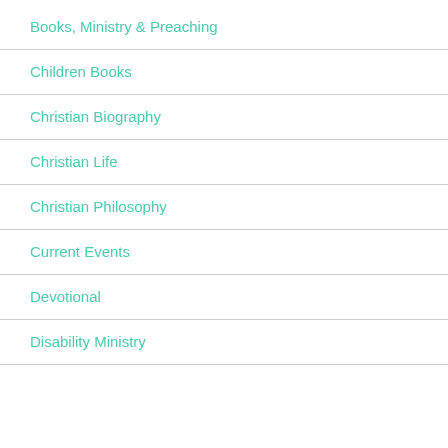Books, Ministry & Preaching
Children Books
Christian Biography
Christian Life
Christian Philosophy
Current Events
Devotional
Disability Ministry